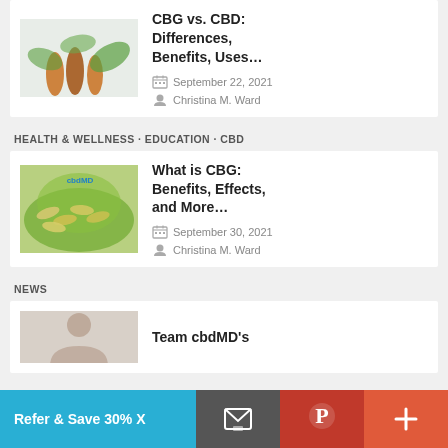[Figure (photo): CBD oil bottles with cannabis leaves on white background]
CBG vs. CBD: Differences, Benefits, Uses…
September 22, 2021
Christina M. Ward
HEALTH & WELLNESS • EDUCATION • CBD
[Figure (photo): Green capsules/pills on cannabis leaf background with cbdMD branding]
What is CBG: Benefits, Effects, and More…
September 30, 2021
Christina M. Ward
NEWS
[Figure (photo): Partial image of a person, cut off at bottom]
Team cbdMD's
Refer & Save 30% X